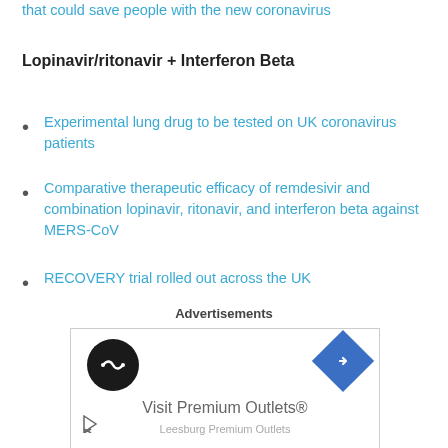that could save people with the new coronavirus
Lopinavir/ritonavir + Interferon Beta
Experimental lung drug to be tested on UK coronavirus patients
Comparative therapeutic efficacy of remdesivir and combination lopinavir, ritonavir, and interferon beta against MERS-CoV
RECOVERY trial rolled out across the UK
Advertisements
[Figure (other): Advertisement banner showing Visit Premium Outlets with circular logo and diamond navigation icon]